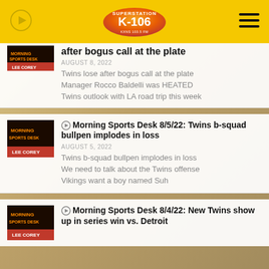Superstation K-106
after bogus call at the plate
AUGUST 8, 2022
Twins lose after bogus call at the plate
Manager Rocco Baldelli was HEATED
Twins outlook with LA road trip this week
Morning Sports Desk 8/5/22: Twins b-squad bullpen implodes in loss
AUGUST 5, 2022
Twins b-squad bullpen implodes in loss
We need to talk about the Twins offense
Vikings want a boy named Suh
Morning Sports Desk 8/4/22: New Twins show up in series win vs. Detroit
[Figure (screenshot): Morning Sports Desk thumbnail - dark background with show branding]
[Figure (screenshot): Morning Sports Desk thumbnail - dark background with show branding]
[Figure (screenshot): Morning Sports Desk thumbnail - dark background with show branding]